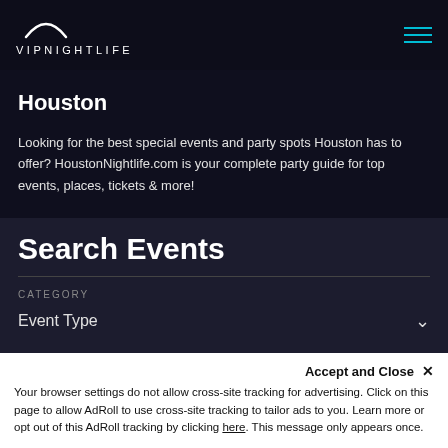VIPNIGHTLIFE
Houston
Looking for the best special events and party spots Houston has to offer? HoustonNightlife.com is your complete party guide for top events, places, tickets & more!
Search Events
CATEGORY
Event Type
Accept and Close ✕
Your browser settings do not allow cross-site tracking for advertising. Click on this page to allow AdRoll to use cross-site tracking to tailor ads to you. Learn more or opt out of this AdRoll tracking by clicking here. This message only appears once.